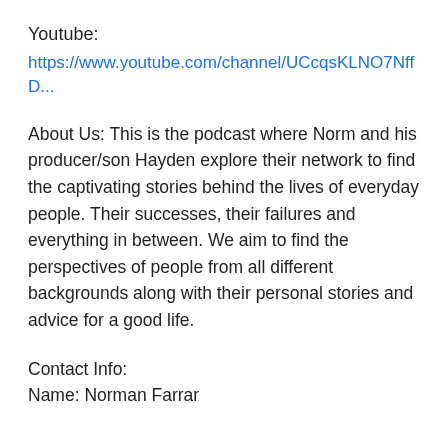Youtube:
https://www.youtube.com/channel/UCcqsKLNO7NffD...
About Us: This is the podcast where Norm and his producer/son Hayden explore their network to find the captivating stories behind the lives of everyday people. Their successes, their failures and everything in between. We aim to find the perspectives of people from all different backgrounds along with their personal stories and advice for a good life.
Contact Info:
Name: Norman Farrar